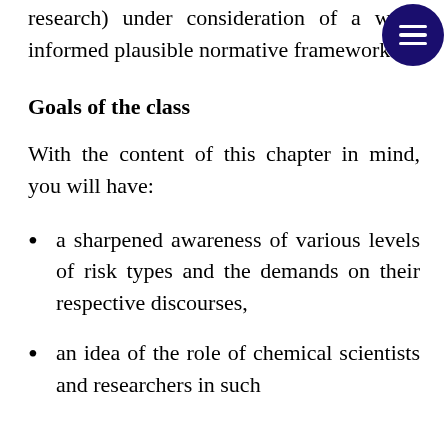research) under consideration of a well-informed plausible normative framework.
Goals of the class
With the content of this chapter in mind, you will have:
a sharpened awareness of various levels of risk types and the demands on their respective discourses,
an idea of the role of chemical scientists and researchers in such